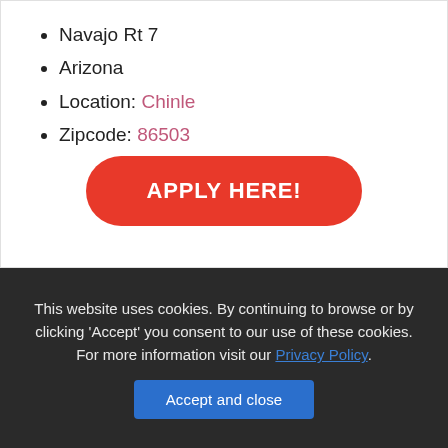Navajo Rt 7
Arizona
Location: Chinle
Zipcode: 86503
APPLY HERE!
This website uses cookies. By continuing to browse or by clicking 'Accept' you consent to our use of these cookies. For more information visit our Privacy Policy.
Accept and close